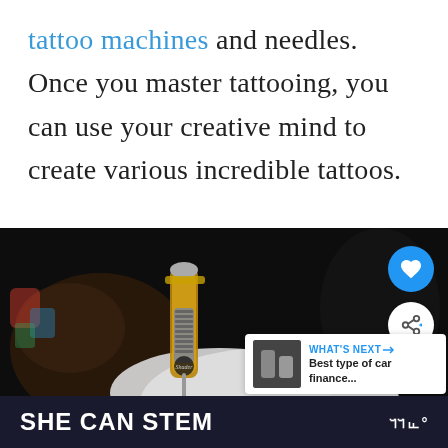tattoo machines and needles. Once you master tattooing, you can use your creative mind to create various incredible tattoos.
[Figure (photo): Close-up photo of a tattoo machine/needle being held by a gloved hand, with a dark background. Overlaid UI elements include a blue heart/like button, a white share button, a 'What's Next' recommendation card showing 'Best type of car finance...', and a bottom banner reading 'SHE CAN STEM' with a logo.]